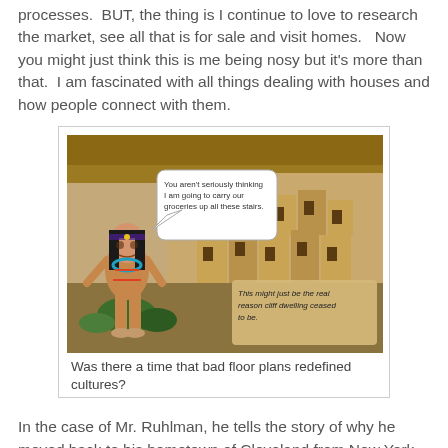processes.  BUT, the thing is I continue to love to research the market, see all that is for sale and visit homes.   Now you might just think this is me being nosy but it's more than that.  I am fascinated with all things dealing with houses and how people connect with them.
[Figure (illustration): A humorous illustration showing a Native American cartoon character standing in front of cliff dwellings (Mesa Verde style). A speech bubble from the character reads: 'You aren't seriously thinking I am going to carry our groceries up all these stairs.' A caption box in the lower right reads: 'This might just be the real reason cliff dwelling ceased to be.']
Was there a time that bad floor plans redefined cultures?
In the case of Mr. Ruhlman, he tells the story of why he moved back to his hometown of Cleveland from New York City to buy a 100 year old fixer-upper. The book basically is a memoir of how he, his wife, along with their two small